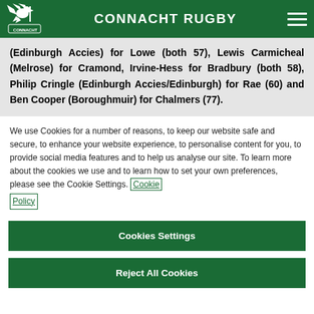CONNACHT RUGBY
(Edinburgh Accies) for Lowe (both 57), Lewis Carmicheal (Melrose) for Cramond, Irvine-Hess for Bradbury (both 58), Philip Cringle (Edinburgh Accies/Edinburgh) for Rae (60) and Ben Cooper (Boroughmuir) for Chalmers (77).
We use Cookies for a number of reasons, to keep our website safe and secure, to enhance your website experience, to personalise content for you, to provide social media features and to help us analyse our site. To learn more about the cookies we use and to learn how to set your own preferences, please see the Cookie Settings. Cookie Policy
Cookies Settings
Reject All Cookies